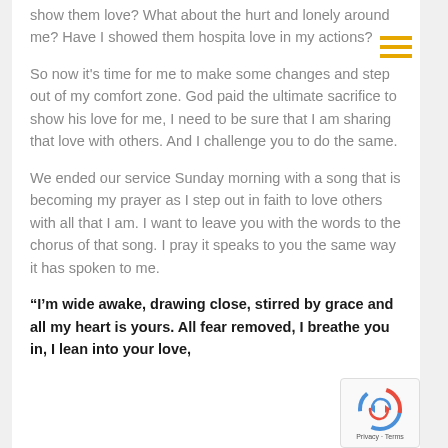show them love? What about the hurt and lonely around me? Have I showed them hospita love in my actions?
So now it's time for me to make some changes and step out of my comfort zone. God paid the ultimate sacrifice to show his love for me, I need to be sure that I am sharing that love with others. And I challenge you to do the same.
We ended our service Sunday morning with a song that is becoming my prayer as I step out in faith to love others with all that I am. I want to leave you with the words to the chorus of that song. I pray it speaks to you the same way it has spoken to me.
“I’m wide awake, drawing close, stirred by grace and all my heart is yours. All fear removed, I breathe you in, I lean into your love,